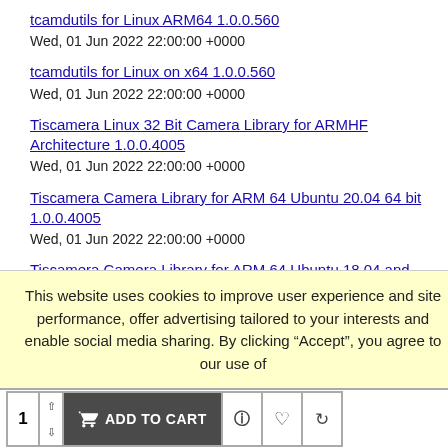tcamdutils for Linux ARM64 1.0.0.560
Wed, 01 Jun 2022 22:00:00 +0000
tcamdutils for Linux on x64 1.0.0.560
Wed, 01 Jun 2022 22:00:00 +0000
Tiscamera Linux 32 Bit Camera Library for ARMHF Architecture 1.0.0.4005
Wed, 01 Jun 2022 22:00:00 +0000
Tiscamera Camera Library for ARM 64 Ubuntu 20.04 64 bit 1.0.0.4005
Wed, 01 Jun 2022 22:00:00 +0000
Tiscamera Camera Library for ARM 64 Ubuntu 18.04 and 22.04 64 bit 1.0.0.4005
This website uses cookies to improve user experience and site performance, offer advertising tailored to your interests and enable social media sharing. By clicking “Accept”, you agree to our use of